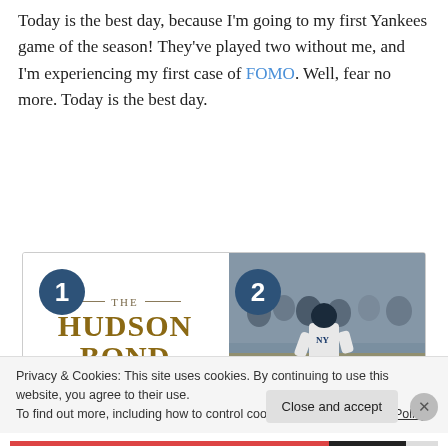Today is the best day, because I'm going to my first Yankees game of the season! They've played two without me, and I'm experiencing my first case of FOMO. Well, fear no more. Today is the best day.
[Figure (other): A carousel showing two items: (1) 'The Hudson Bond' book/product logo in gold serif text on white background with decorative lines, with a dark blue circle badge showing '1'; (2) A baseball player (Yankees uniform) running on a field with crowd in background, with a dark blue circle badge showing '2'.]
Privacy & Cookies: This site uses cookies. By continuing to use this website, you agree to their use.
To find out more, including how to control cookies, see here: Cookie Policy